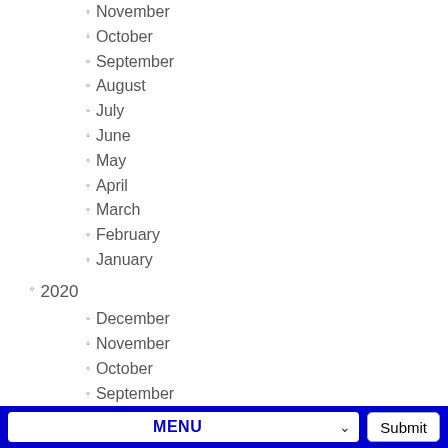November
October
September
August
July
June
May
April
March
February
January
2020
December
November
October
September
August
July
June
May
April
March
February
January
2019
MENU  Submit